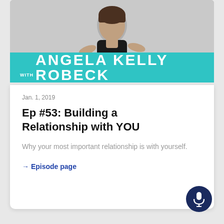[Figure (photo): Photo of Angela Kelly Robeck with teal banner overlay reading WITH ANGELA KELLY ROBECK]
Jan. 1, 2019
Ep #53: Building a Relationship with YOU
Why your most important relationship is with yourself.
→ Episode page